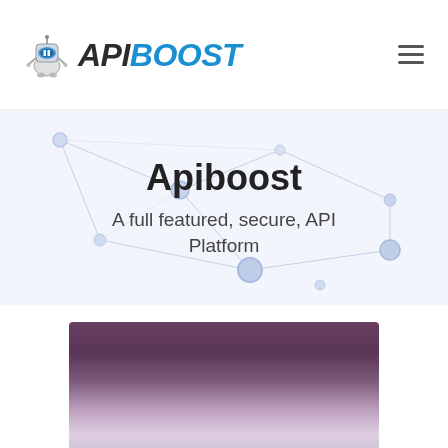APIBOOST — navigation header with logo and hamburger menu
[Figure (screenshot): Hero banner with network/nodes background graphic showing connected dots and lines in light blue-grey on white]
Apiboost
A full featured, secure, API Platform
[Figure (screenshot): Blurred screenshot preview of the Apiboost platform dashboard interface, showing dark purple header region and lighter content area below]